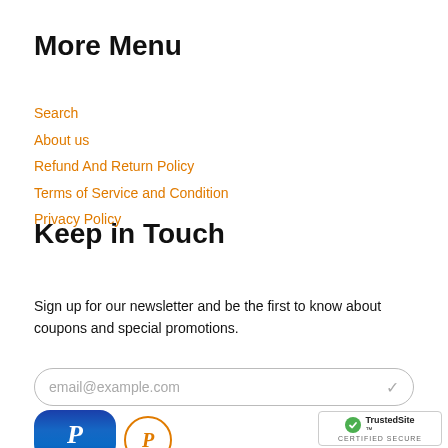More Menu
Search
About us
Refund And Return Policy
Terms of Service and Condition
Privacy Policy
Keep in Touch
Sign up for our newsletter and be the first to know about coupons and special promotions.
email@example.com
[Figure (logo): PayPal logo button (blue rounded rectangle with white P)]
[Figure (logo): Pinterest icon (orange circle outline with orange P)]
[Figure (logo): TrustedSite Certified Secure badge]
More Menu